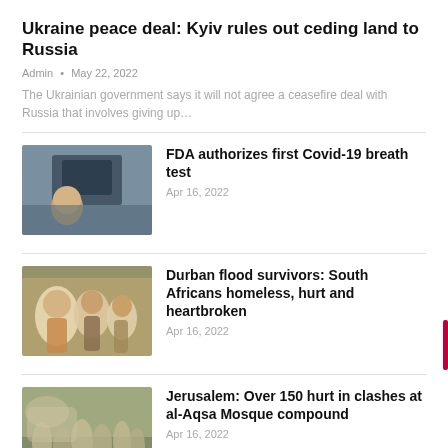Ukraine peace deal: Kyiv rules out ceding land to Russia
Admin • May 22, 2022
The Ukrainian government says it will not agree a ceasefire deal with Russia that involves giving up...
[Figure (photo): Person with electronic device, FDA breath test related]
FDA authorizes first Covid-19 breath test
Apr 16, 2022
[Figure (photo): Group of people, Durban flood survivors]
Durban flood survivors: South Africans homeless, hurt and heartbroken
Apr 16, 2022
[Figure (photo): Crowd scene, Jerusalem al-Aqsa Mosque clashes]
Jerusalem: Over 150 hurt in clashes at al-Aqsa Mosque compound
Apr 16, 2022
‹ PREV   NEXT ›   1 of 7,953